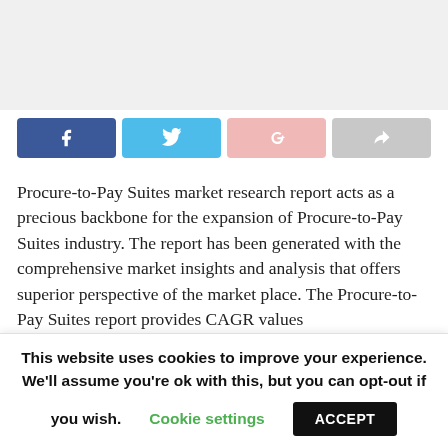[Figure (other): Gray placeholder image area at top of page]
[Figure (infographic): Social share buttons row: Facebook (dark blue), Twitter (light blue), Google+ (pink), Forward/share (gray)]
Procure-to-Pay Suites market research report acts as a precious backbone for the expansion of Procure-to-Pay Suites industry. The report has been generated with the comprehensive market insights and analysis that offers superior perspective of the market place. The Procure-to-Pay Suites report provides CAGR values
This website uses cookies to improve your experience. We'll assume you're ok with this, but you can opt-out if you wish. Cookie settings ACCEPT